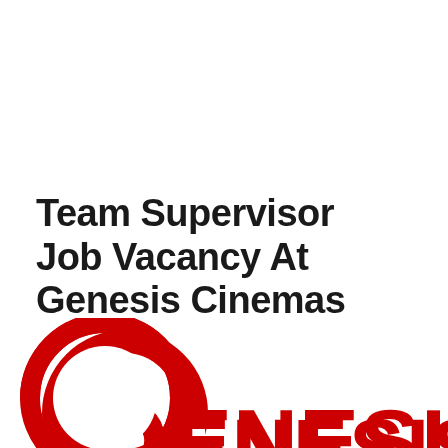Team Supervisor Job Vacancy At Genesis Cinemas
[Figure (logo): Genesis Cinemas logo — a red circular swirl/G symbol on the left and the word GENESIS in bold red block letters on the right, partially cropped at bottom of page]